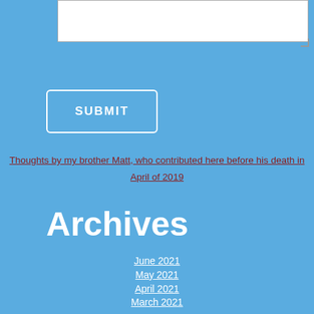[textarea input field]
SUBMIT
Thoughts by my brother Matt, who contributed here before his death in April of 2019
Archives
June 2021
May 2021
April 2021
March 2021
February 2021
January 2021
December 2020
November 2020
October 2020
September 2020